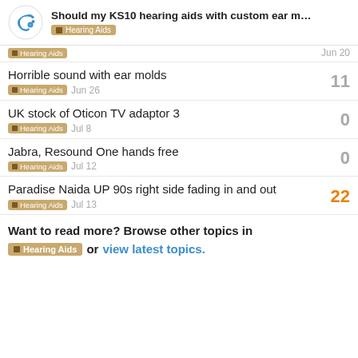Should my KS10 hearing aids with custom ear m... | Hearing Aids
Hearing Aids | Jun 20
Horrible sound with ear molds | 11 | Hearing Aids | Jun 26
UK stock of Oticon TV adaptor 3 | 0 | Hearing Aids | Jul 8
Jabra, Resound One hands free | 0 | Hearing Aids | Jul 12
Paradise Naida UP 90s right side fading in and out | 22 | Hearing Aids | Jul 13
Want to read more? Browse other topics in Hearing Aids or view latest topics.